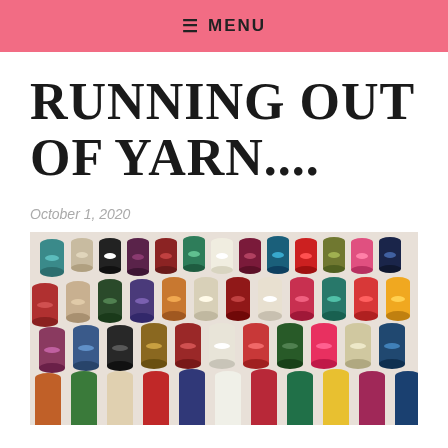≡ MENU
RUNNING OUT OF YARN....
October 1, 2020
[Figure (photo): Overhead view of many colorful thread/yarn spools arranged in rows on a white surface. Spools are various colors including red, teal, purple, beige, black, white, orange, green, pink, and more.]